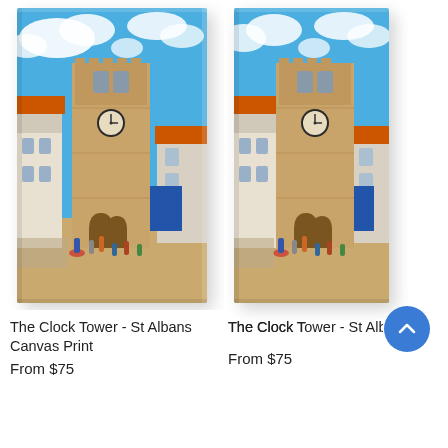[Figure (photo): Canvas print of The Clock Tower in St Albans, artistic painterly style, showing a tall stone medieval clock tower with orange-roofed adjacent buildings, blue sky with white clouds, people in the foreground square. Left product image, angled canvas presentation.]
The Clock Tower - St Albans Canvas Print
From $75
[Figure (photo): Canvas print of The Clock Tower in St Albans, same image cropped, right-side partial view showing similar painting style. Right product image, angled canvas presentation.]
The Clock Tower...
From $75